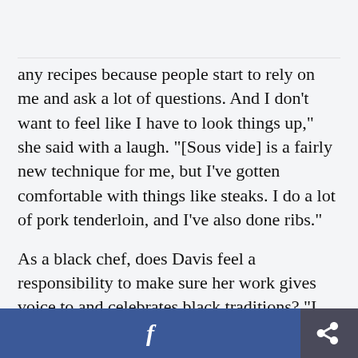any recipes because people start to rely on me and ask a lot of questions. And I don't want to feel like I have to look things up," she said with a laugh. "[Sous vide] is a fairly new technique for me, but I've gotten comfortable with things like steaks. I do a lot of pork tenderloin, and I've also done ribs."
As a black chef, does Davis feel a responsibility to make sure her work gives voice to and celebrates black traditions? "I feel strongly that the black experience isn't monolithic," she told me. "My
[Figure (screenshot): Footer bar with Facebook share button (blue) and a share/export icon button (dark grey)]